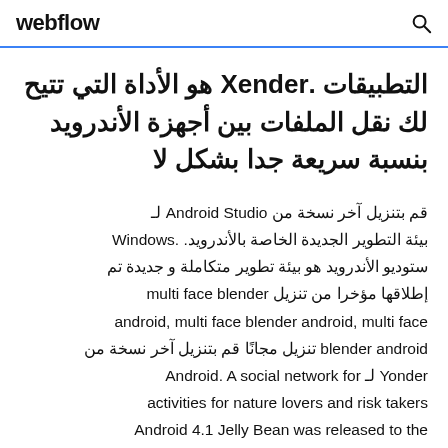webflow
التطبيقات .Xender هو الأداة التي تتيح لك نقل الملفات بين أجهزة الأندرويد بنسبة سريعة جدا بشكل لا
قم بتنزيل آخر نسخة من لـ Android Studio بيئة التطوير الجديدة الخاصة بالأندرويد. .Windows ستوديو الأندرويد هو بيئة تطوير متكاملة و جديدة تم إطلاقها مؤخرا من تنزيل multi face blender android, multi face blender android, multi face blender android تنزيل مجانًا قم بتنزيل آخر نسخة من Yonder لـ Android. A social network for activities for nature lovers and risk takers Android 4.1 Jelly Bean was released to the Android Open Source Project on July 9, 2012, and the Nexus 7 tablet, the first device to run